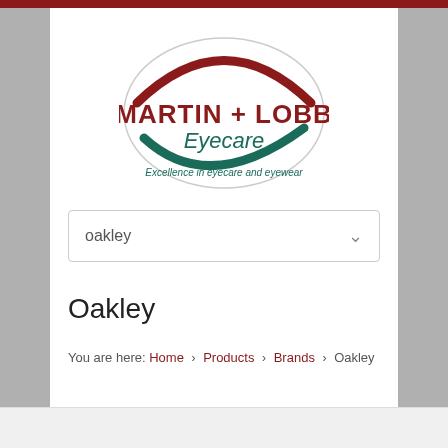[Figure (logo): Martin + Lobb Eyecare logo — oval shape with red arc on top and dark teal arc on bottom, bold dark red text 'MARTIN + LOBB', teal italic text 'Eyecare', and italic tagline 'Excellence in eyecare and eyewear']
oakley
Oakley
You are here: Home › Products › Brands › Oakley